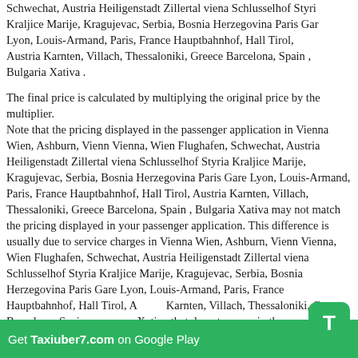Schwechat, Austria Heiligenstadt Zillertal viena Schlusselhof Styria Kraljice Marije, Kragujevac, Serbia, Bosnia Herzegovina Paris Gare Lyon, Louis-Armand, Paris, France Hauptbahnhof, Hall Tirol, Austria Karnten, Villach, Thessaloniki, Greece Barcelona, Spain , Bulgaria Xativa .
The final price is calculated by multiplying the original price by the multiplier. Note that the pricing displayed in the passenger application in Vienna Wien, Ashburn, Vienn Vienna, Wien Flughafen, Schwechat, Austria Heiligenstadt Zillertal viena Schlusselhof Styria Kraljice Marije, Kragujevac, Serbia, Bosnia Herzegovina Paris Gare Lyon, Louis-Armand, Paris, France Hauptbahnhof, Hall Tirol, Austria Karnten, Villach, Thessaloniki, Greece Barcelona, Spain , Bulgaria Xativa may not match the pricing displayed in your passenger application. This difference is usually due to service charges in Vienna Wien, Ashburn, Vienn Vienna, Wien Flughafen, Schwechat, Austria Heiligenstadt Zillertal viena Schlusselhof Styria Kraljice Marije, Kragujevac, Serbia, Bosnia Herzegovina Paris Gare Lyon, Louis-Armand, Paris, France Hauptbahnhof, Hall Tirol, Austria Karnten, Villach, Thessaloniki, Greece Barcelona, Spain , Bulgaria Xativa that do not appear in the amount of races you ma... Additional fees may apply to the passenger in Vienna Wien, Ashburn, Vienn Vienna, Wien Flughafen, Schwechat, Austria Heiligenstadt Zillertal viena Schlusselhof Styria Kraljice Marije,
[Figure (other): Green banner at bottom: 'Get Taxiuber7.com on Google Play' with T badge icon]